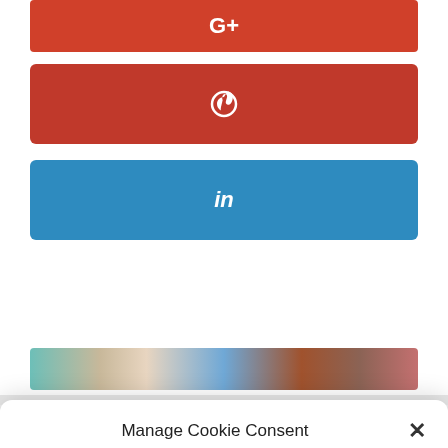[Figure (screenshot): Google+ social share button (red/orange)]
[Figure (screenshot): Pinterest social share button (dark red)]
[Figure (screenshot): LinkedIn social share button (blue)]
[Figure (photo): Blurred/colorful image strip partially visible]
Manage Cookie Consent
To provide the best experiences, we use technologies like cookies to store and/or access device information. Consenting to these technologies will allow us to process data such as browsing behavior or unique IDs on this site. Not consenting or withdrawing consent, may adversely affect certain features and functions.
Accept